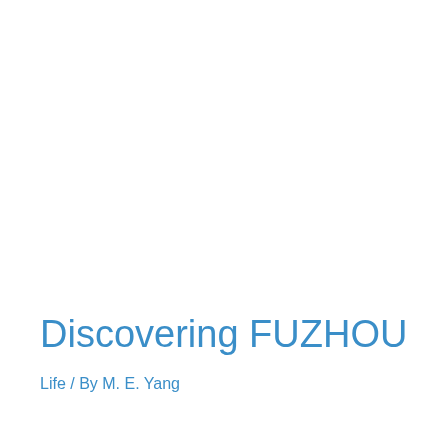Discovering FUZHOU
Life / By M. E. Yang